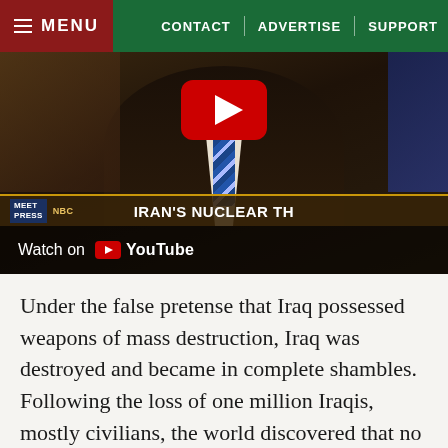MENU | CONTACT | ADVERTISE | SUPPORT
[Figure (screenshot): YouTube video thumbnail showing a man in a suit and tie in an office/study setting. A large YouTube play button is visible in the upper center. A news ticker at the bottom reads "IRAN'S NUCLEAR TH" with a "MEET PRESS" logo. A 'Watch on YouTube' overlay bar is at the bottom.]
Under the false pretense that Iraq possessed weapons of mass destruction, Iraq was destroyed and became in complete shambles. Following the loss of one million Iraqis, mostly civilians, the world discovered that no such weapons existed in Saddam Hussein's Iraq.  The United States, in the meantime, lost over 3,500 soldiers, suffered tens of thousands of wounded soldiers, and squandered